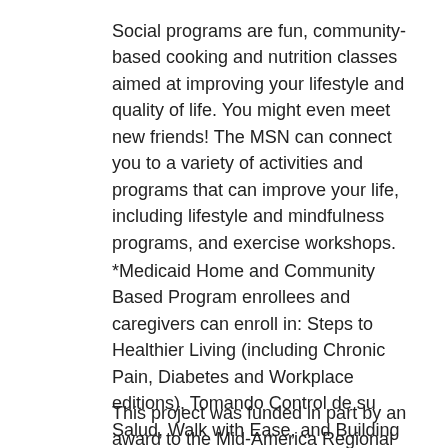Social programs are fun, community-based cooking and nutrition classes aimed at improving your lifestyle and quality of life. You might even meet new friends! The MSN can connect you to a variety of activities and programs that can improve your life, including lifestyle and mindfulness programs, and exercise workshops.
*Medicaid Home and Community Based Program enrollees and caregivers can enroll in: Steps to Healthier Living (including Chronic Pain, Diabetes and Workplace editions), Tomando Control de su Salud, Walk with Ease, and Building Better Caregivers (Kansas City region only).
This project was funded in part by an award to the Mid-America Regional Council (MARC) through